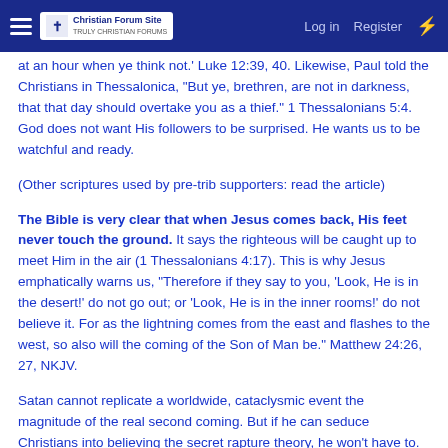Christian Forum Site — Log in | Register
at an hour when ye think not.' Luke 12:39, 40. Likewise, Paul told the Christians in Thessalonica, "But ye, brethren, are not in darkness, that that day should overtake you as a thief." 1 Thessalonians 5:4. God does not want His followers to be surprised. He wants us to be watchful and ready.
(Other scriptures used by pre-trib supporters: read the article)
The Bible is very clear that when Jesus comes back, His feet never touch the ground. It says the righteous will be caught up to meet Him in the air (1 Thessalonians 4:17). This is why Jesus emphatically warns us, "Therefore if they say to you, 'Look, He is in the desert!' do not go out; or 'Look, He is in the inner rooms!' do not believe it. For as the lightning comes from the east and flashes to the west, so also will the coming of the Son of Man be." Matthew 24:26, 27, NKJV.
Satan cannot replicate a worldwide, cataclysmic event the magnitude of the real second coming. But if he can seduce Christians into believing the secret rapture theory, he won't have to. He can simply